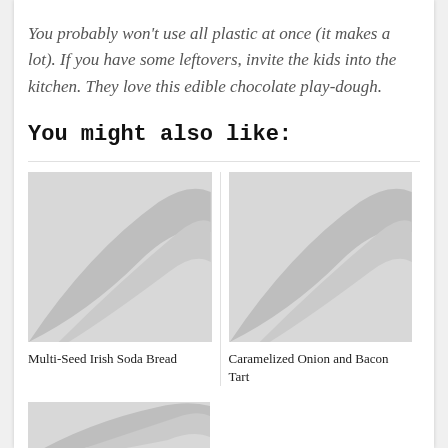You probably won't use all plastic at once (it makes a lot). If you have some leftovers, invite the kids into the kitchen. They love this edible chocolate play-dough.
You might also like:
[Figure (photo): Placeholder image for Multi-Seed Irish Soda Bread]
Multi-Seed Irish Soda Bread
[Figure (photo): Placeholder image for Caramelized Onion and Bacon Tart]
Caramelized Onion and Bacon Tart
[Figure (photo): Placeholder image for a third recipe card (partially visible)]